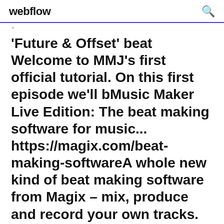webflow
'Future & Offset' beat Welcome to MMJ's first official tutorial. On this first episode we'll bMusic Maker Live Edition: The beat making software for music... https://magix.com/beat-making-softwareA whole new kind of beat making software from Magix – mix, produce and record your own tracks.
Banger Epic Hard Trap Beat Instrumental - Unique (Producer: Didker) Buy & Download |